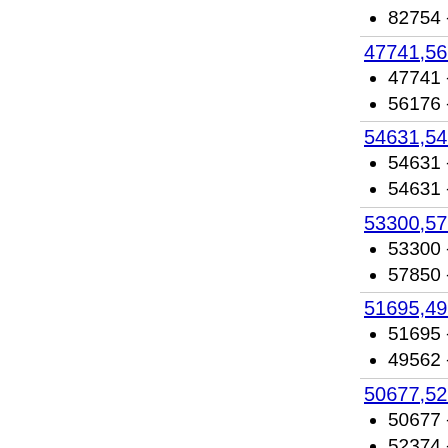82754 - C-terminal, gelsolin-like domain
47741,56176
47741 - CO dehydrogenase ISP C-domain
56176 - FAD-binding/transporter-associated domain
54631,54631
54631 - CBS-domain pair
54631 - CBS-domain pair
53300,57850
53300 - vWA-like
57850 - RING/U-box
51695,49562
51695 - PLC-like phosphodiesterases
49562 - C2 domain (Calcium/lipid-binding domain, CaLB)
50677,52374
50677 - ValRS/IleRS/LeuRS editing domain
52374 - Nucleotidylyl transferase
53901,53901
53901 - Thiolase-like
53901 - Thiolase-like
54897,52743
54897 - Protease propeptides/inhibitors
52743 - Subtilisin-like
54236,63491